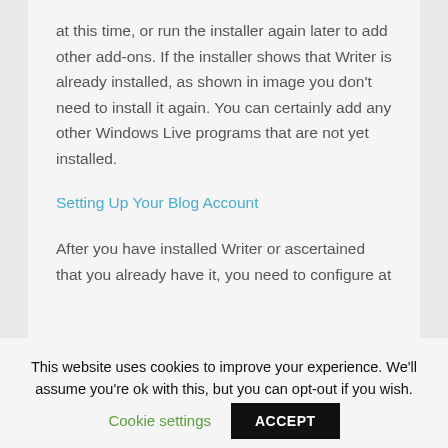at this time, or run the installer again later to add other add-ons. If the installer shows that Writer is already installed, as shown in image you don't need to install it again. You can certainly add any other Windows Live programs that are not yet installed.
Setting Up Your Blog Account
After you have installed Writer or ascertained that you already have it, you need to configure at
This website uses cookies to improve your experience. We'll assume you're ok with this, but you can opt-out if you wish.
Cookie settings
ACCEPT